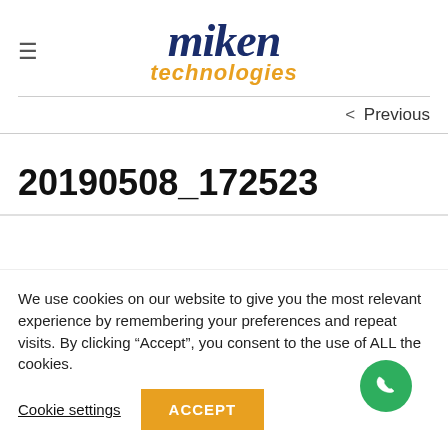[Figure (logo): Miken Technologies logo: 'miken' in dark blue bold italic serif font, 'technologies' in orange bold italic sans-serif font below]
< Previous
20190508_172523
We use cookies on our website to give you the most relevant experience by remembering your preferences and repeat visits. By clicking “Accept”, you consent to the use of ALL the cookies.
Cookie settings
ACCEPT